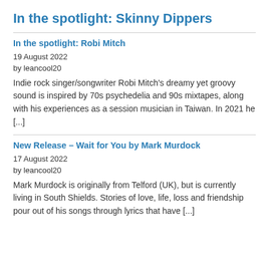In the spotlight: Skinny Dippers
In the spotlight: Robi Mitch
19 August 2022
by leancool20
Indie rock singer/songwriter Robi Mitch's dreamy yet groovy sound is inspired by 70s psychedelia and 90s mixtapes, along with his experiences as a session musician in Taiwan. In 2021 he [...]
New Release – Wait for You by Mark Murdock
17 August 2022
by leancool20
Mark Murdock is originally from Telford (UK), but is currently living in South Shields. Stories of love, life, loss and friendship pour out of his songs through lyrics that have [...]